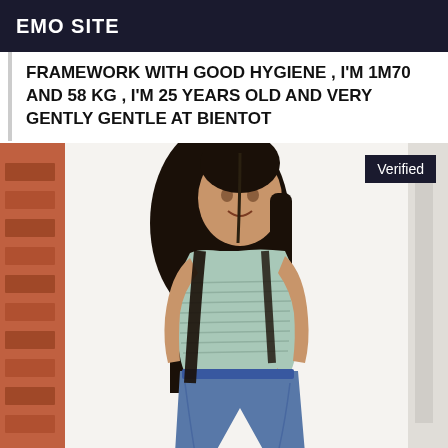EMO SITE
FRAMEWORK WITH GOOD HYGIENE , I'M 1M70 AND 58 KG , I'M 25 YEARS OLD AND VERY GENTLY GENTLE AT BIENTOT
[Figure (photo): Young woman with long straight black hair, wearing a light blue crop top and jeans, standing against a white wall. A 'Verified' badge appears in the top right corner of the image.]